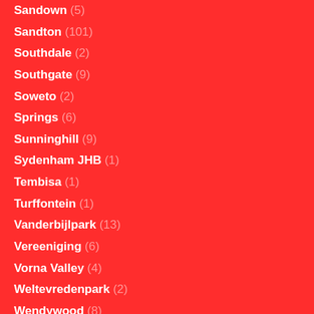Sandown (5)
Sandton (101)
Southdale (2)
Southgate (9)
Soweto (2)
Springs (6)
Sunninghill (9)
Sydenham JHB (1)
Tembisa (1)
Turffontein (1)
Vanderbijlpark (13)
Vereeniging (6)
Vorna Valley (4)
Weltevredenpark (2)
Wendywood (8)
Wilgeheuwel (1)
Winchester Hills (1)
Woodmead (3)
Wynberg (1)